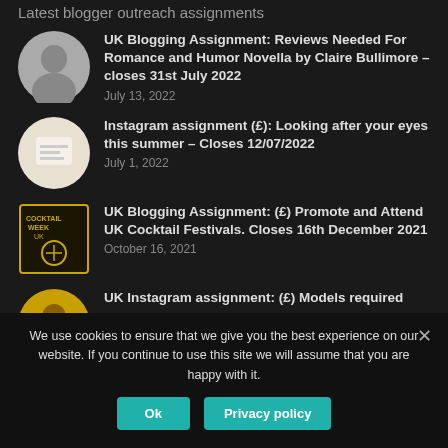Latest blogger outreach assignments
UK Blogging Assignment: Reviews Needed For Romance and Humor Novella by Claire Bullimore – closes 31st July 2022
July 13, 2022
Instagram assignment (£): Looking after your eyes this summer – Closes 12/07/2022
July 1, 2022
UK Blogging Assignment: (£) Promote and Attend UK Cocktail Festivals. Closes 16th December 2021
October 16, 2021
UK Instagram assignment: (£) Models required
We use cookies to ensure that we give you the best experience on our website. If you continue to use this site we will assume that you are happy with it.